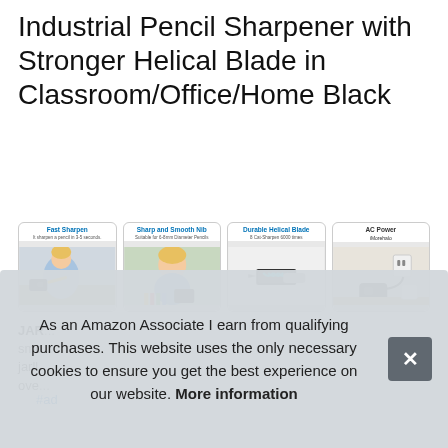Industrial Pencil Sharpener with Stronger Helical Blade in Classroom/Office/Home Black
#ad
[Figure (photo): Four product feature images for a pencil sharpener: 1) Fast Sharpen - child using sharpener, 2) Sharp and Smooth Nib - child smiling with pencils, 3) Durable Helical Blade - close-up of blade mechanism, 4) AC Power - sharpener plugged in on desk]
JARLLB Electric Pencil Sharpener... smooth... jarlll... over...
As an Amazon Associate I earn from qualifying purchases. This website uses the only necessary cookies to ensure you get the best experience on our website. More information